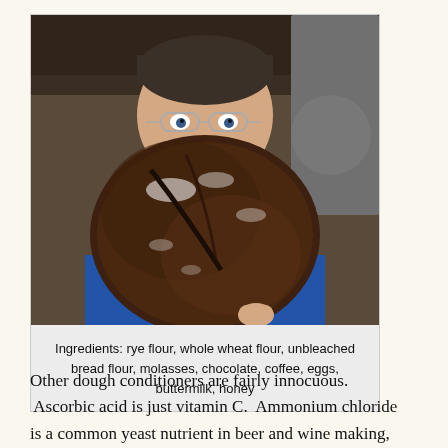[Figure (photo): A man holding up a large round dark rye bread loaf in front of his face, wearing glasses and a blue shirt, in an indoor setting.]
Ingredients: rye flour, whole wheat flour, unbleached bread flour, molasses, chocolate, coffee, eggs, buttermilk, honey
Other dough conditioners are fairly innocuous. Ascorbic acid is just vitamin C. Ammonium chloride is a common yeast nutrient in beer and wine making,